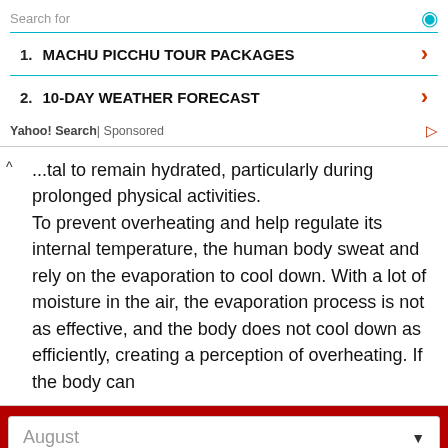Search for
1. MACHU PICCHU TOUR PACKAGES
2. 10-DAY WEATHER FORECAST
Yahoo! Search | Sponsored
...tal to remain hydrated, particularly during prolonged physical activities. To prevent overheating and help regulate its internal temperature, the human body sweat and rely on the evaporation to cool down. With a lot of moisture in the air, the evaporation process is not as effective, and the body does not cool down as efficiently, creating a perception of overheating. If the body can
August
Today
Tomorrow
10 days
Climate